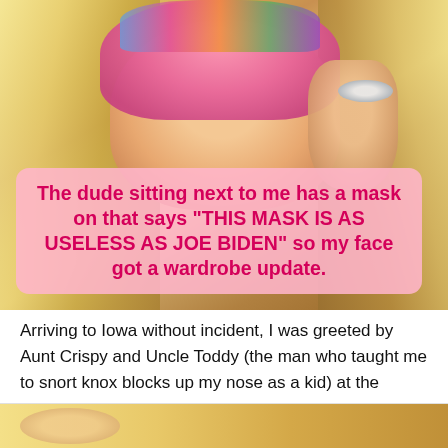[Figure (photo): Close-up photo of a woman with long blonde hair wearing a pink face mask, holding her hand near her face. She is wearing a silver ring.]
The dude sitting next to me has a mask on that says "THIS MASK IS AS USELESS AS JOE BIDEN" so my face got a wardrobe update.
Arriving to Iowa without incident, I was greeted by Aunt Crispy and Uncle Toddy (the man who taught me to snort knox blocks up my nose as a kid) at the airport and escorted to their fab abode for a night's stay.
[Figure (photo): Partial view of another photo at the bottom of the page, cropped.]